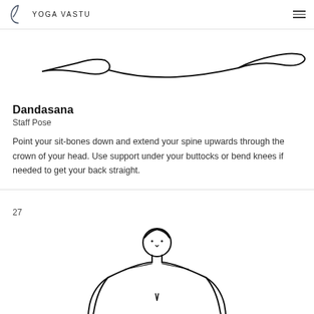YOGA VASTU
[Figure (illustration): Partial illustration of a yoga pose (cropped from previous page) showing feet and arms in a seated position, line drawing style]
Dandasana
Staff Pose
Point your sit-bones down and extend your spine upwards through the crown of your head. Use support under your buttocks or bend knees if needed to get your back straight.
27
[Figure (illustration): Line drawing illustration of a person from the front, showing upper body and head in a seated yoga pose (Dandasana / Staff Pose), with simple minimal style black outlines on white background]